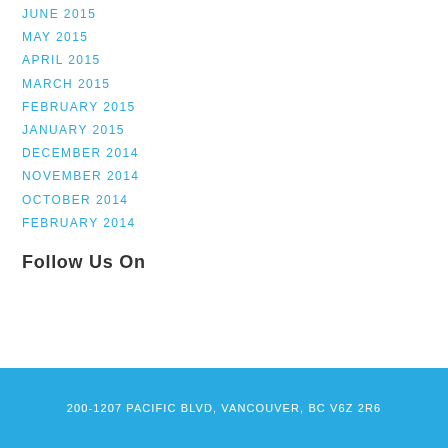JUNE 2015
MAY 2015
APRIL 2015
MARCH 2015
FEBRUARY 2015
JANUARY 2015
DECEMBER 2014
NOVEMBER 2014
OCTOBER 2014
FEBRUARY 2014
Follow Us On
200-1207 PACIFIC BLVD, VANCOUVER, BC V6Z 2R6